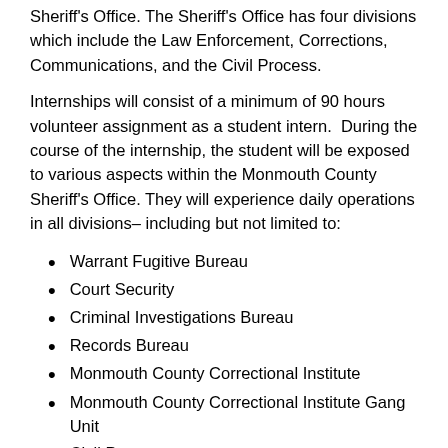Sheriff's Office. The Sheriff's Office has four divisions which include the Law Enforcement, Corrections, Communications, and the Civil Process.
Internships will consist of a minimum of 90 hours volunteer assignment as a student intern. During the course of the internship, the student will be exposed to various aspects within the Monmouth County Sheriff's Office. They will experience daily operations in all divisions– including but not limited to:
Warrant Fugitive Bureau
Court Security
Criminal Investigations Bureau
Records Bureau
Monmouth County Correctional Institute
Monmouth County Correctional Institute Gang Unit
Civil Process
Project Lifesaver
Foreclosures